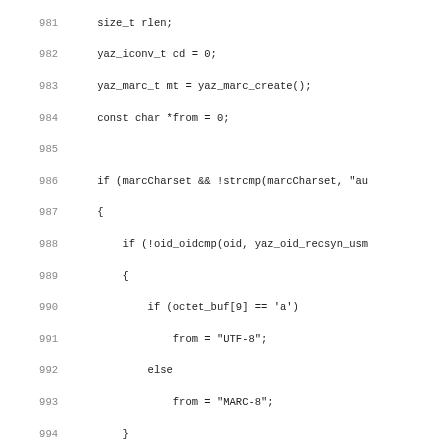[Figure (screenshot): Source code listing showing C code lines 981-1012, with line numbers on the left and code on the right. The code handles character set conversion using yaz_iconv and yaz_marc functions.]